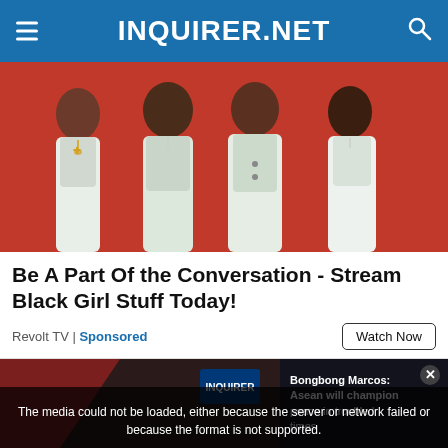INQUIRER.NET
[Figure (photo): Four women dressed in white outfits posing against an orange/red background, promotional image for Black Girl Stuff streaming show]
Be A Part Of the Conversation - Stream Black Girl Stuff Today!
Revolt TV | Sponsored
Watch Now
[Figure (screenshot): Video player showing Bongbong Marcos news segment with media error overlay. Text overlay reads: The media could not be loaded, either because the server or network failed or because the format is not supported. Video thumbnail shows 'BONGBONG MARCOS: ASEAN WILL CHAMPION PEACE IN TROUBLED TIMES'. Side panel shows 'Bongbong Marcos: Asean will champion peace in troubled times']